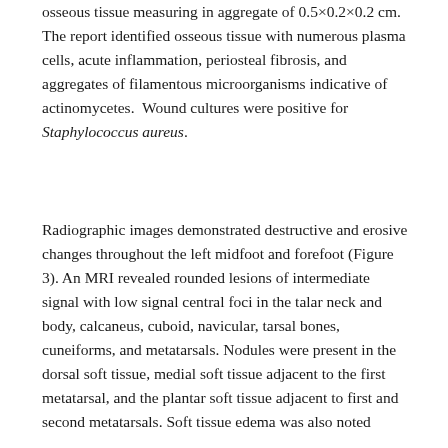osseous tissue measuring in aggregate of 0.5×0.2×0.2 cm. The report identified osseous tissue with numerous plasma cells, acute inflammation, periosteal fibrosis, and aggregates of filamentous microorganisms indicative of actinomycetes.  Wound cultures were positive for Staphylococcus aureus.
Radiographic images demonstrated destructive and erosive changes throughout the left midfoot and forefoot (Figure 3). An MRI revealed rounded lesions of intermediate signal with low signal central foci in the talar neck and body, calcaneus, cuboid, navicular, tarsal bones, cuneiforms, and metatarsals. Nodules were present in the dorsal soft tissue, medial soft tissue adjacent to the first metatarsal, and the plantar soft tissue adjacent to first and second metatarsals. Soft tissue edema was also noted